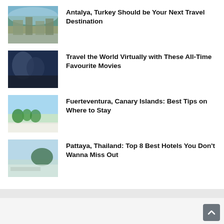Antalya, Turkey Should be Your Next Travel Destination
Travel the World Virtually with These All-Time Favourite Movies
Fuerteventura, Canary Islands: Best Tips on Where to Stay
Pattaya, Thailand: Top 8 Best Hotels You Don't Wanna Miss Out